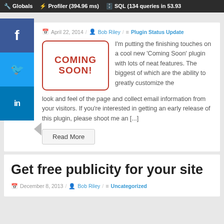Globals  /  Profiler (394.96 ms)  /  SQL (134 queries in 53.93
April 22, 2014 / Bob Riley / Plugin Status Update
[Figure (illustration): Coming Soon stamp graphic with red text and red border on white rounded rectangle]
I'm putting the finishing touches on a cool new 'Coming Soon' plugin with lots of neat features. The biggest of which are the ability to greatly customize the look and feel of the page and collect email information from your visitors. If you're interested in getting an early release of this plugin, please shoot me an [...]
Read More
Get free publicity for your site
December 8, 2013 / Bob Riley / Uncategorized